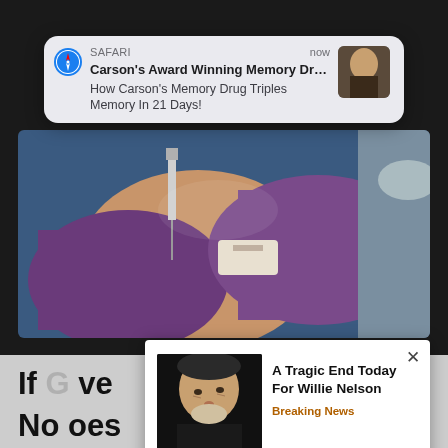[Figure (screenshot): Safari browser notification banner showing: 'Carson's Award Winning Memory Drug Hits Market ...' / 'How Carson's Memory Drug Triples Memory In 21 Days!' with a small thumbnail image, app name SAFARI and timestamp 'now']
[Figure (photo): Close-up photo of a medical professional wearing purple gloves administering an injection/vaccine to a patient's arm]
If G... ve No... oes An...
[Figure (screenshot): Popup advertisement showing photo of Willie Nelson with text 'A Tragic End Today For Willie Nelson' and label 'Breaking News', with an X close button]